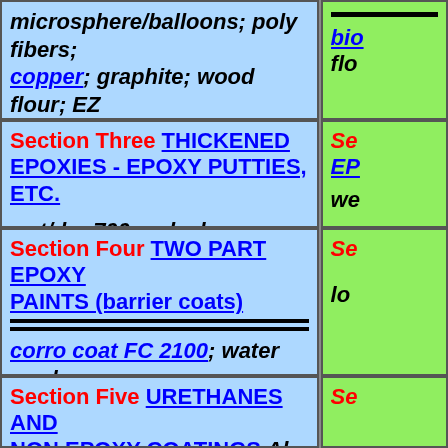microsphere/balloons; poly fibers; copper; graphite; wood flour; EZ thick; rock flour
bio; flo
Section Three THICKENED EPOXIES - EPOXY PUTTIES, ETC.
wet/dry 700; splash zone;
Se EP
we
Section Four TWO PART EPOXY PAINTS (barrier coats)
corro coat FC 2100; water gard 300; CM 15; crack coat™
Se
lo
Section Five URETHANES AND NON EPOXY COATINGS Al th
Se